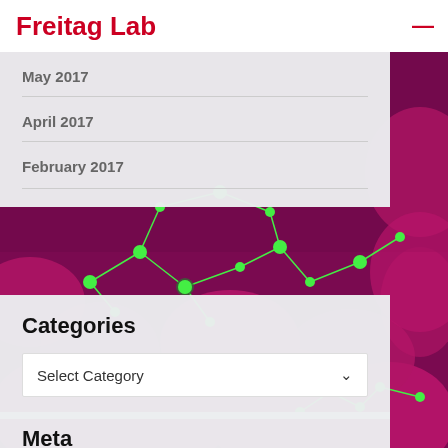Freitag Lab
May 2017
April 2017
February 2017
[Figure (photo): Microscopy image showing magenta/pink cell-like structures with green molecular network overlays on dark purple background]
Categories
Select Category
Meta